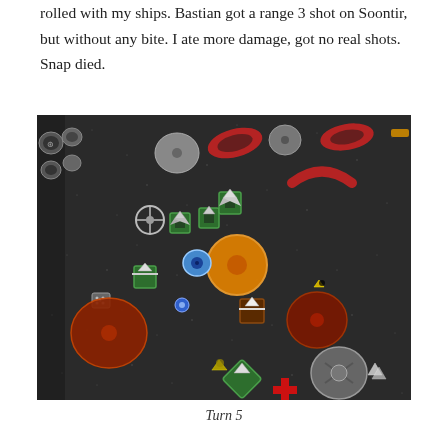rolled with my ships. Bastian got a range 3 shot on Soontir, but without any bite. I ate more damage, got no real shots. Snap died.
[Figure (photo): A tabletop miniature wargame in progress, showing various spaceship miniatures and tokens on a dark starfield game mat, with game pieces including orange and red arc tokens, gray asteroids, and small spacecraft models.]
Turn 5